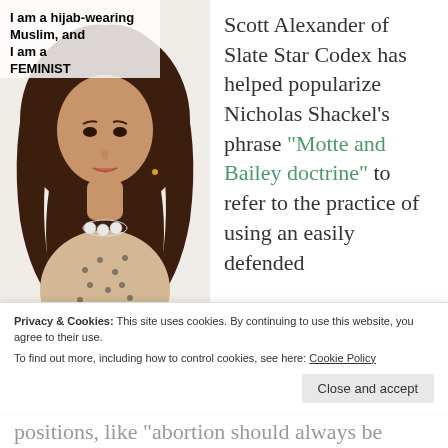[Figure (photo): Photo of a young woman wearing a dark brown hijab and a polka-dot blouse with a floral necklace, with overlaid text reading 'I am a hijab-wearing Muslim, and I am a FEMINIST']
Scott Alexander of Slate Star Codex has helped popularize Nicholas Shackel’s phrase “Motte and Bailey doctrine” to refer to the practice of using an easily defended
Privacy & Cookies: This site uses cookies. By continuing to use this website, you agree to their use.
To find out more, including how to control cookies, see here: Cookie Policy
Close and accept
positions, like “abortion should always be